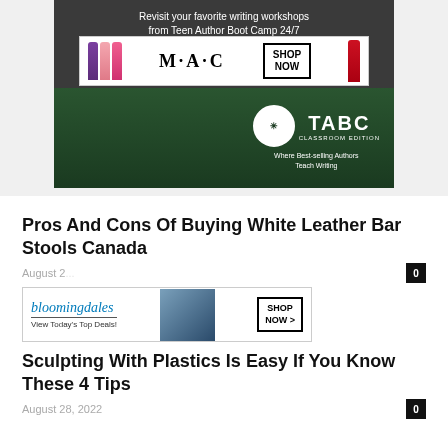[Figure (screenshot): TABC (Teen Author Boot Camp) promotional banner showing dark background with students and text 'Revisit your favorite writing workshops from Teen Author Boot Camp 24/7', overlaid with a MAC cosmetics advertisement showing lipsticks and 'SHOP NOW' button, and TABC Classroom Edition logo with tagline 'Where Best-selling Authors Teach Writing']
Pros And Cons Of Buying White Leather Bar Stools Canada
[Figure (screenshot): Bloomingdales advertisement: 'bloomingdales / View Today's Top Deals!' with woman in hat and 'SHOP NOW >' button]
CLOSE
Sculpting With Plastics Is Easy If You Know These 4 Tips
August 28, 2022
0